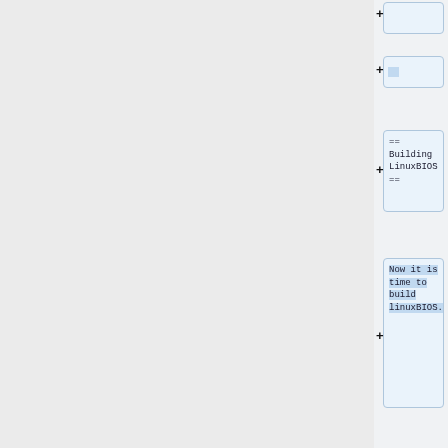(empty diff block at top)
(empty diff block second)
== Building LinuxBIOS ==
Now it is time to build linuxBIOS.
$ cd LinuxBIOSv2/targets/emulation/qemu-i386
You should edit the Config.lb file, where it says payload.put